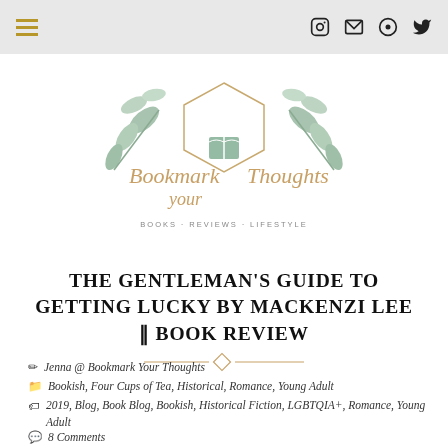Navigation bar with hamburger menu and social icons (Instagram, email, Bloglovin, Twitter)
[Figure (logo): Bookmark Your Thoughts blog logo: cursive script text 'Bookmark your Thoughts' with a hexagonal frame containing a crescent moon and open book, decorated with eucalyptus leaves. Subtitle: BOOKS • REVIEWS • LIFESTYLE]
THE GENTLEMAN'S GUIDE TO GETTING LUCKY BY MACKENZI LEE || BOOK REVIEW
✏ Jenna @ Bookmark Your Thoughts
📁 Bookish, Four Cups of Tea, Historical, Romance, Young Adult
🏷 2019, Blog, Book Blog, Bookish, Historical Fiction, LGBTQIA+, Romance, Young Adult
💬 8 Comments